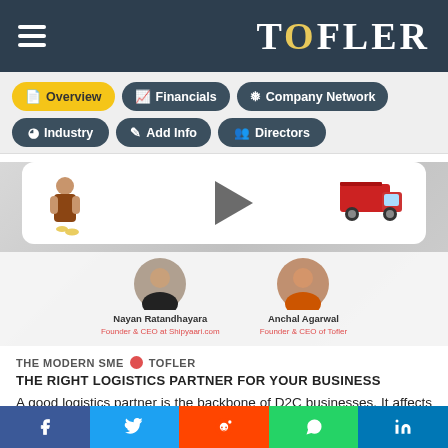TOFLER
[Figure (screenshot): Navigation tabs: Overview (active/yellow), Financials, Company Network, Industry, Add Info, Directors]
[Figure (screenshot): Video thumbnail with play button, illustration of person with coins and red delivery truck. Below: Nayan Ratandhayara (Founder & CEO at Shipyaari.com) and Anchal Agarwal (Founder & CEO of Tofler) speaker photos with names and titles.]
THE MODERN SME ● TOFLER
THE RIGHT LOGISTICS PARTNER FOR YOUR BUSINESS
A good logistics partner is the backbone of D2C businesses. It affects your customer experience, brand
f  Twitter  Reddit  WhatsApp  in